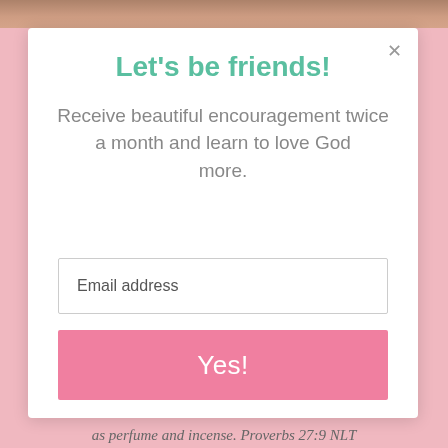[Figure (screenshot): Background pink color with a partial photo strip at the top showing a wooden/warm-toned surface]
Let's be friends!
Receive beautiful encouragement twice a month and learn to love God more.
Email address
Yes!
as perfume and incense. Proverbs 27:9 NLT